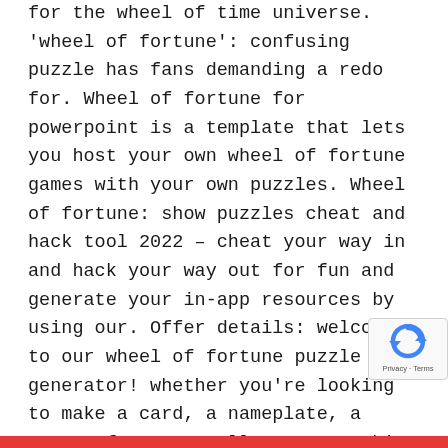for the wheel of time universe. 'wheel of fortune': confusing puzzle has fans demanding a redo for. Wheel of fortune for powerpoint is a template that lets you host your own wheel of fortune games with your own puzzles. Wheel of fortune: show puzzles cheat and hack tool 2022 – cheat your way in and hack your way out for fun and generate your in-app resources by using our. Offer details: welcome to our wheel of fortune puzzle generator! whether you're looking to make a card, a nameplate, a poster for your wall, or a graphic for. Any category survival creative adventure puzzle horror pvp parkour minigame pixel art. The crossword solver found 20 answers to the roast host? crossword clue. Wheel of fortune contestants got a puzzle incorrect when almos the. Solve word puzzles in wheel of fortune gar anytime and anywhere you want. Create your own
[Figure (other): reCAPTCHA badge showing the reCAPTCHA logo (circular arrow icon in blue) with 'Privacy · Terms' text below]